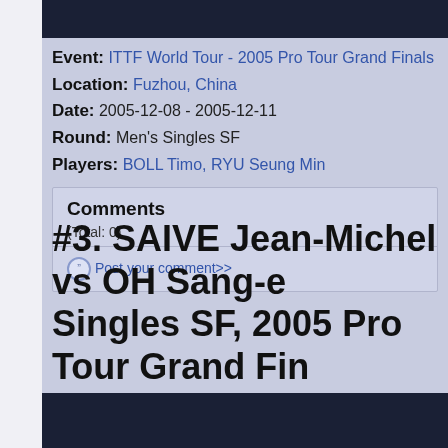Event: ITTF World Tour - 2005 Pro Tour Grand Finals
Location: Fuzhou, China
Date: 2005-12-08 - 2005-12-11
Round: Men's Singles SF
Players: BOLL Timo, RYU Seung Min
| Comments |  |
| --- | --- |
| (Total: 0) |  |
| Post your comment>> |  |
#3. SAIVE Jean-Michel vs OH Sang-e Singles SF, 2005 Pro Tour Grand Fin